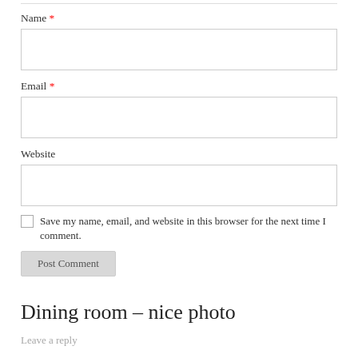Name *
[Figure (other): Empty text input field for Name]
Email *
[Figure (other): Empty text input field for Email]
Website
[Figure (other): Empty text input field for Website]
Save my name, email, and website in this browser for the next time I comment.
Post Comment
Dining room – nice photo
Leave a reply